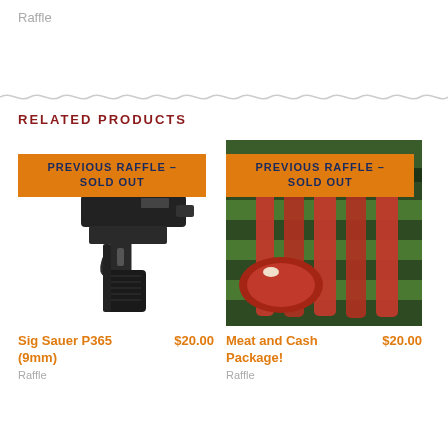Raffle
RELATED PRODUCTS
[Figure (photo): Previous Raffle Sold Out banner over photo of a black Sig Sauer P365 9mm pistol]
Sig Sauer P365 (9mm)
$20.00
Raffle
[Figure (photo): Previous Raffle Sold Out banner over photo of meat cuts displayed in a butcher case]
Meat and Cash Package!
$20.00
Raffle